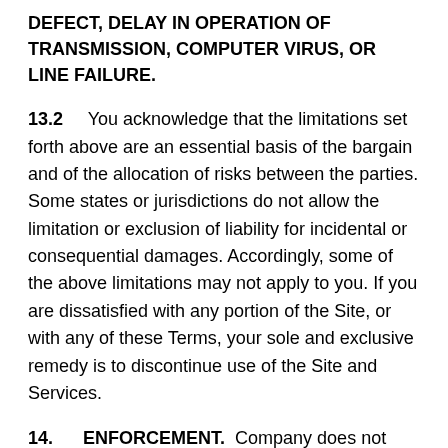DEFECT, DELAY IN OPERATION OF TRANSMISSION, COMPUTER VIRUS, OR LINE FAILURE.
13.2 You acknowledge that the limitations set forth above are an essential basis of the bargain and of the allocation of risks between the parties. Some states or jurisdictions do not allow the limitation or exclusion of liability for incidental or consequential damages. Accordingly, some of the above limitations may not apply to you. If you are dissatisfied with any portion of the Site, or with any of these Terms, your sole and exclusive remedy is to discontinue use of the Site and Services.
14. ENFORCEMENT. Company does not assume responsibility to you or others for any failure by Company to enforce the provisions contained in the